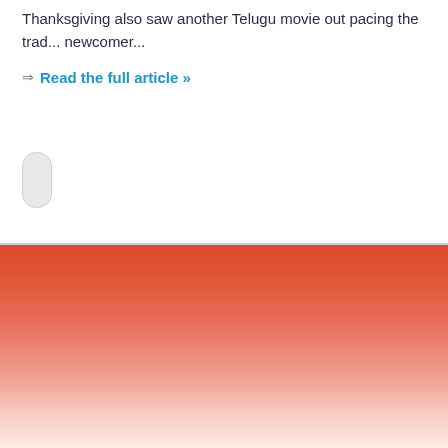Thanksgiving also saw another Telugu movie out pacing the traditional newcomer...
Read the full article »
[Figure (other): Red to white gradient background filling lower portion of page]